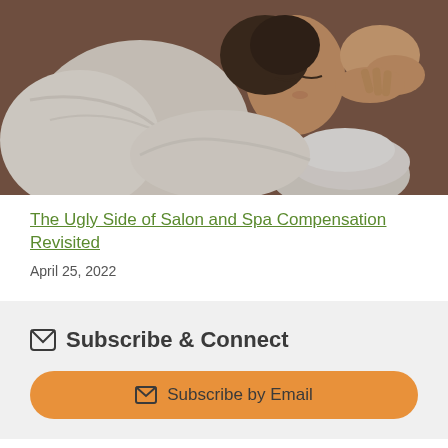[Figure (photo): A woman in a white bathrobe lying down receiving a facial massage, with white towels nearby and hands applying pressure to her face.]
The Ugly Side of Salon and Spa Compensation Revisited
April 25, 2022
Subscribe & Connect
Subscribe by Email